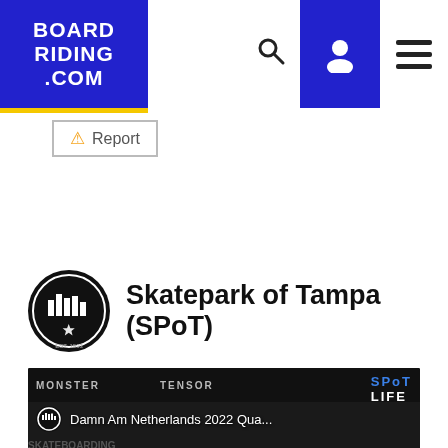BOARD RIDING .COM
Report
Skatepark of Tampa (SPoT)
[Figure (screenshot): YouTube video thumbnail showing 'Damn Am Netherlands 2022 Qua...' with SPoT LIFE branding, a skateboarder performing a trick at an indoor skatepark, Monster and Tensor sponsor banners, and a play button overlay. DAMN AM NETHERLANDS logo visible at bottom left.]
SKATEBOARDING